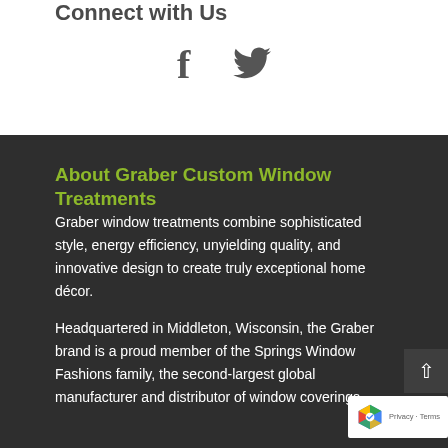Connect with Us
[Figure (illustration): Facebook and Twitter social media icons in dark gray]
About Graber Custom Window Treatments
Graber window treatments combine sophisticated style, energy efficiency, unyielding quality, and innovative design to create truly exceptional home décor.
Headquartered in Middleton, Wisconsin, the Graber brand is a proud member of the Springs Window Fashions family, the second-largest global manufacturer and distributor of window coverings